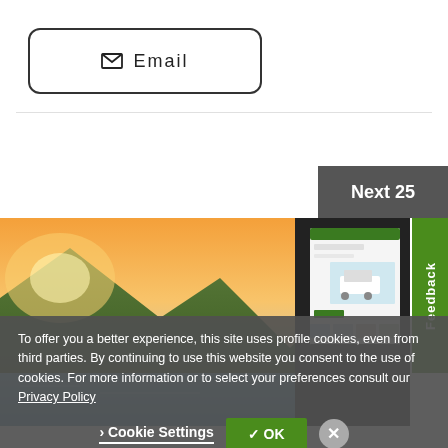[Figure (screenshot): Email button with envelope icon and letter-spaced text 'Email', inside a rounded rectangle border]
[Figure (screenshot): Next 25 button in dark grey]
[Figure (photo): Scenic mountain landscape with lake and sunset light, overlaid with a screenshot of a campervan booking website]
[Figure (screenshot): Green vertical Feedback tab on the right side]
To offer you a better experience, this site uses profile cookies, even from third parties. By continuing to use this website you consent to the use of cookies. For more information or to select your preferences consult our Privacy Policy
Cookie Settings
✓ OK